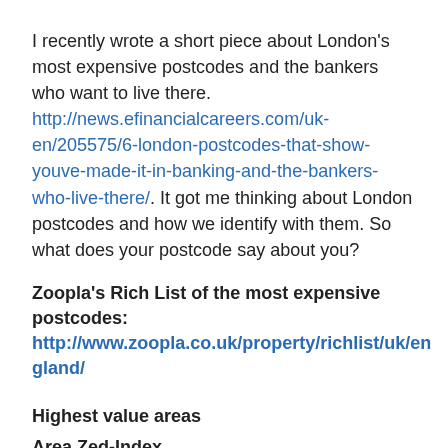I recently wrote a short piece about London's most expensive postcodes and the bankers who want to live there. http://news.efinancialcareers.com/uk-en/205575/6-london-postcodes-that-show-youve-made-it-in-banking-and-the-bankers-who-live-there/. It got me thinking about London postcodes and how we identify with them. So what does your postcode say about you?
Zoopla's Rich List of the most expensive postcodes: http://www.zoopla.co.uk/property/richlist/uk/england/
Highest value areas
Area Zed-Index
1 W8 (Kensington) £2,707,386
2 SW7 (Knightsbridge) £2,493,204
3 SW3 (Chelsea) £2,394,200